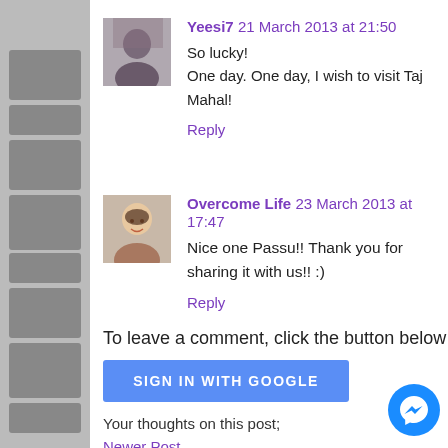[Figure (photo): Avatar thumbnail of user Yeesi7, appears to be a person]
Yeesi7  21 March 2013 at 21:50
So lucky!
One day. One day, I wish to visit Taj Mahal!
Reply
[Figure (photo): Avatar thumbnail of user Overcome Life, appears to be a smiling woman]
Overcome Life  23 March 2013 at 17:47
Nice one Passu!! Thank you for sharing it with us!! :)
Reply
To leave a comment, click the button below to sign i
SIGN IN WITH GOOGLE
Your thoughts on this post;
Newer Post
Subscribe to: Post Comments (Atom)
[Figure (logo): Facebook Messenger floating chat icon, blue circle with lightning bolt]